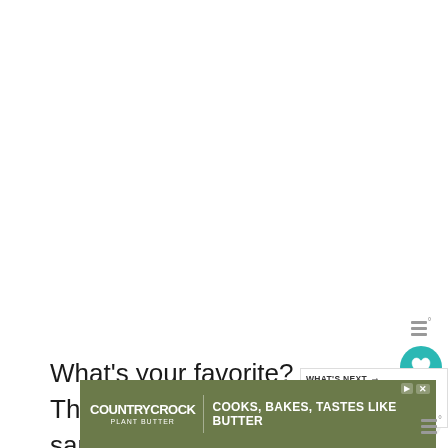[Figure (screenshot): White blank content area at top of page, part of a mobile web interface]
[Figure (illustration): Teal circular heart/favorite button and grey share button on right side]
What's your favorite? The original chi... sandwich, lemonade, or the chicken... love that the lemonade is made with just 3 in...
[Figure (screenshot): What's Next widget showing Buffalo Chicken Wra... with circular food photo thumbnail]
[Figure (screenshot): Country Crock Plant Butter advertisement banner with olive green background: COOKS, BAKES, TASTES LIKE BUTTER]